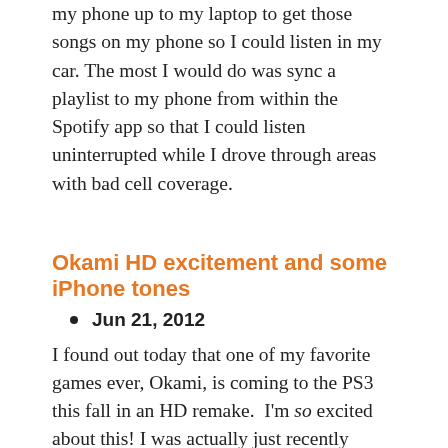my phone up to my laptop to get those songs on my phone so I could listen in my car. The most I would do was sync a playlist to my phone from within the Spotify app so that I could listen uninterrupted while I drove through areas with bad cell coverage.
Okami HD excitement and some iPhone tones
Jun 21, 2012
I found out today that one of my favorite games ever, Okami, is coming to the PS3 this fall in an HD remake. I'm so excited about this! I was actually just recently wanting to replay it on the Wii, but my parents have my Wii right now because my